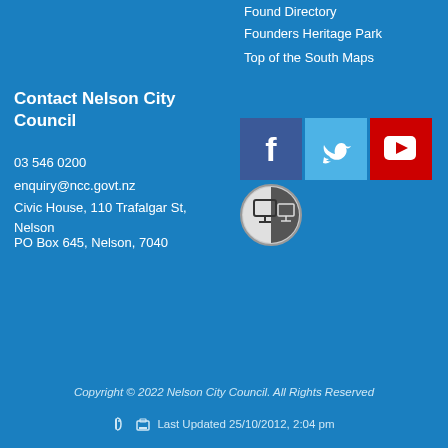Found Directory
Founders Heritage Park
Top of the South Maps
Contact Nelson City Council
03 546 0200
enquiry@ncc.govt.nz
Civic House, 110 Trafalgar St, Nelson
PO Box 645, Nelson, 7040
[Figure (logo): Facebook, Twitter, YouTube social media icons and an app/software icon]
Copyright © 2022 Nelson City Council. All Rights Reserved
Last Updated 25/10/2012, 2:04 pm